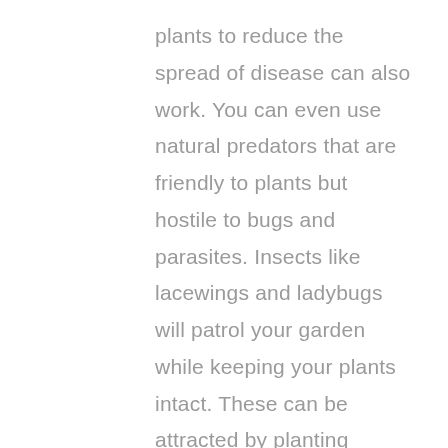plants to reduce the spread of disease can also work. You can even use natural predators that are friendly to plants but hostile to bugs and parasites. Insects like lacewings and ladybugs will patrol your garden while keeping your plants intact. These can be attracted by planting specific types of plants, or they can even be bought online.